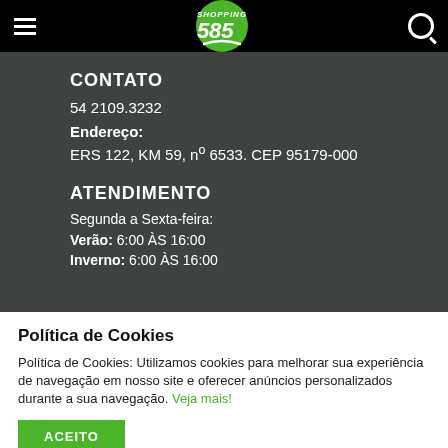Shopping 585 — navigation bar with logo
CONTATO
54 2109.3232
Endereço:
ERS 122, KM 59, nº 6533. CEP 95179-000
ATENDIMENTO
Segunda a Sexta-feira:
Verão: 6:00 ÀS 16:00
Inverno: 6:00 ÀS 16:00
Política de Cookies
Política de Cookies: Utilizamos cookies para melhorar sua experiência de navegação em nosso site e oferecer anúncios personalizados durante a sua navegação. Veja mais!
ACEITO